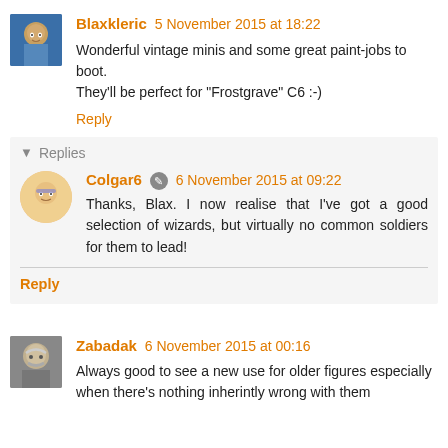Blaxkleric 5 November 2015 at 18:22
Wonderful vintage minis and some great paint-jobs to boot. They'll be perfect for "Frostgrave" C6 :-)
Reply
Replies
Colgar6 6 November 2015 at 09:22
Thanks, Blax. I now realise that I've got a good selection of wizards, but virtually no common soldiers for them to lead!
Reply
Zabadak 6 November 2015 at 00:16
Always good to see a new use for older figures especially when there's nothing inherintly wrong with them